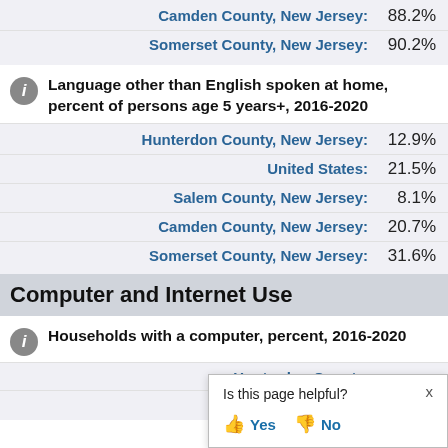Camden County, New Jersey: 88.2%
Somerset County, New Jersey: 90.2%
Language other than English spoken at home, percent of persons age 5 years+, 2016-2020
Hunterdon County, New Jersey: 12.9%
United States: 21.5%
Salem County, New Jersey: 8.1%
Camden County, New Jersey: 20.7%
Somerset County, New Jersey: 31.6%
Computer and Internet Use
Households with a computer, percent, 2016-2020
Hunterdon County,
U
Is this page helpful?  Yes  No